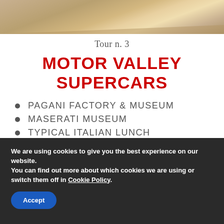[Figure (photo): Decorative wood/leather texture banner at top of page]
Tour n. 3
MOTOR VALLEY SUPERCARS
PAGANI FACTORY & MUSEUM
MASERATI MUSEUM
TYPICAL ITALIAN LUNCH
LAMBORGHINI FACTORY
LAMBORGHINI MUSEUM
We are using cookies to give you the best experience on our website.
You can find out more about which cookies we are using or switch them off in Cookie Policy.